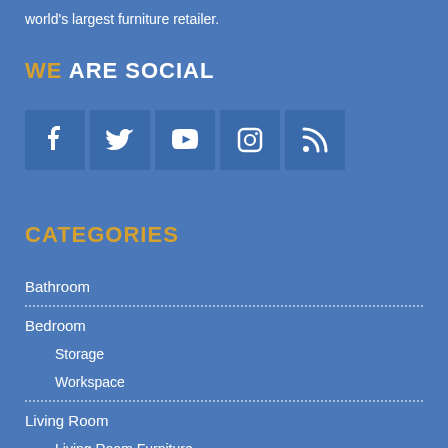world's largest furniture retailer.
WE ARE SOCIAL
[Figure (infographic): Row of five social media icons: Facebook, Twitter, YouTube, Instagram, RSS feed]
CATEGORIES
Bathroom
Bedroom
Storage
Workspace
Living Room
Living Room Furniture
Textiles